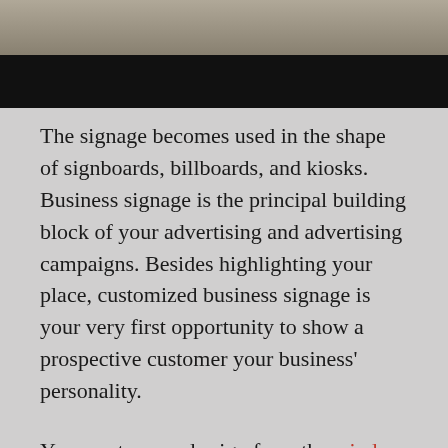[Figure (photo): Partial photo of a room/office scene, mostly obscured by a black bar at bottom]
The signage becomes used in the shape of signboards, billboards, and kiosks.  Business signage is the principal building block of your advertising and advertising campaigns. Besides highlighting your place, customized business signage is your very first opportunity to show a prospective customer your business' personality.
Your custom made sign from the window sign company in Boise, Id has to be unique to your company, branding your company with a stimulating and visually compelling company